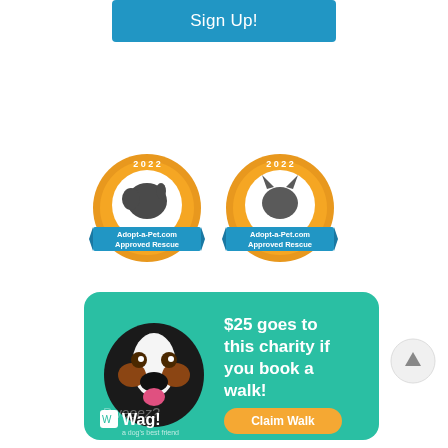Sign Up!
[Figure (illustration): Two 2022 Adopt-a-Pet.com Approved Rescue badges — one with a dog silhouette and one with a cat silhouette, both in an orange scalloped circle with a blue ribbon banner.]
[Figure (infographic): Wag! promotional card with teal background featuring a cartoon Bernese Mountain Dog, text '$25 goes to this charity if you book a walk!', Wag! logo, and a 'Claim Walk' orange button.]
[Figure (illustration): Circular scroll-to-top button with an upward arrow.]